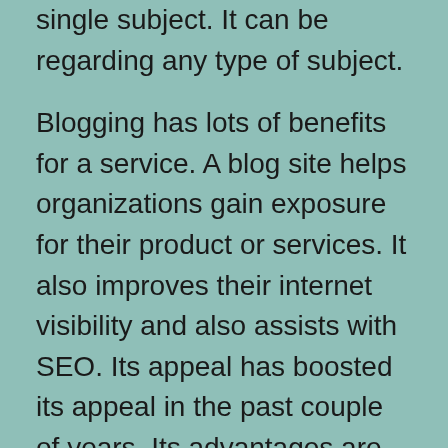single subject. It can be regarding any type of subject.
Blogging has lots of benefits for a service. A blog site helps organizations gain exposure for their product or services. It also improves their internet visibility and also assists with SEO. Its appeal has boosted its appeal in the past couple of years. Its advantages are widely known as well as acknowledged. For instance, it can improve search engine positions and assist entrepreneur raise their earnings. And also it can help a small business or a private